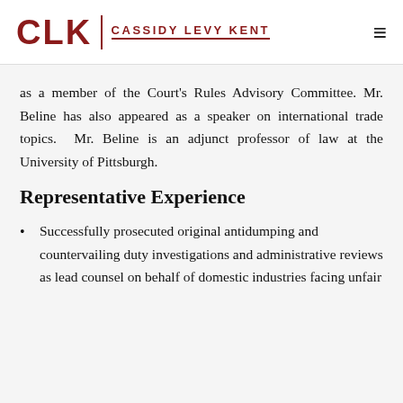CLK CASSIDY LEVY KENT
as a member of the Court's Rules Advisory Committee. Mr. Beline has also appeared as a speaker on international trade topics.  Mr. Beline is an adjunct professor of law at the University of Pittsburgh.
Representative Experience
Successfully prosecuted original antidumping and countervailing duty investigations and administrative reviews as lead counsel on behalf of domestic industries facing unfair